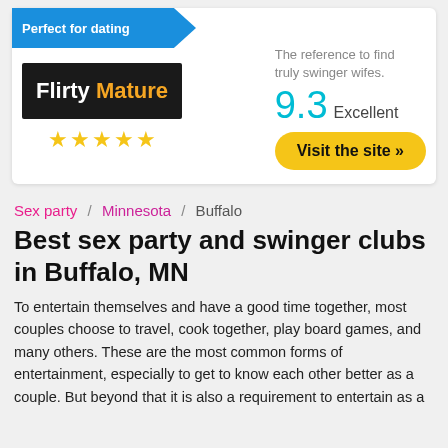[Figure (infographic): Promotional card for 'Flirty Mature' dating site with blue 'Perfect for dating' banner, site logo, five gold stars, score of 9.3 Excellent, tagline 'The reference to find truly swinger wifes.', and yellow 'Visit the site »' button.]
Sex party / Minnesota / Buffalo
Best sex party and swinger clubs in Buffalo, MN
To entertain themselves and have a good time together, most couples choose to travel, cook together, play board games, and many others. These are the most common forms of entertainment, especially to get to know each other better as a couple. But beyond that it is also a requirement to entertain as a